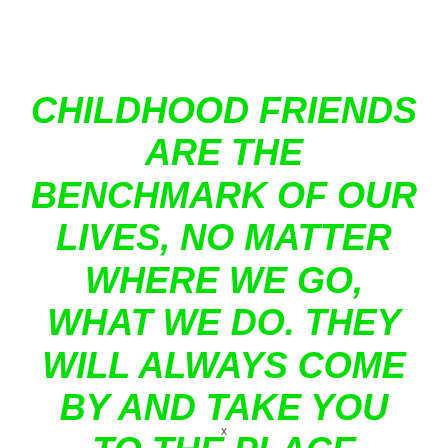CHILDHOOD FRIENDS ARE THE BENCHMARK OF OUR LIVES, NO MATTER WHERE WE GO, WHAT WE DO. THEY WILL ALWAYS COME BY AND TAKE YOU TO THE PLACE WHERE YOU BELONG.
x